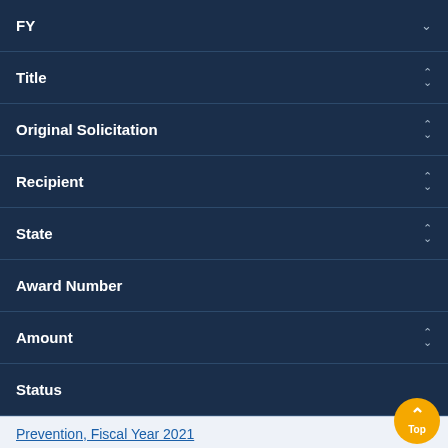| Filter | Sort |
| --- | --- |
| FY | ↓ |
| Title | ⇅ |
| Original Solicitation | ⇅ |
| Recipient | ⇅ |
| State | ⇅ |
| Award Number |  |
| Amount | ⇅ |
| Status |  |
Prevention, Fiscal Year 2021
Rate this Page  PRESIDENT AND FELLOWS OF HARVARD COLLE...
MA